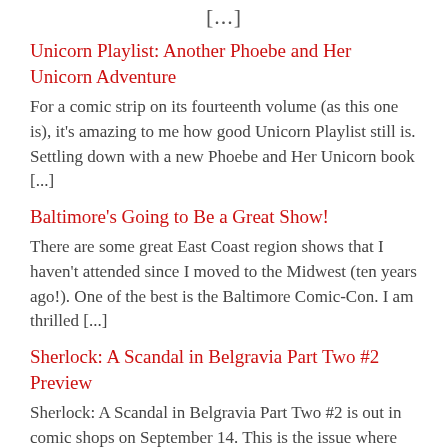[...]
Unicorn Playlist: Another Phoebe and Her Unicorn Adventure
For a comic strip on its fourteenth volume (as this one is), it's amazing to me how good Unicorn Playlist still is. Settling down with a new Phoebe and Her Unicorn book [...]
Baltimore's Going to Be a Great Show!
There are some great East Coast region shows that I haven't attended since I moved to the Midwest (ten years ago!). One of the best is the Baltimore Comic-Con. I am thrilled [...]
Sherlock: A Scandal in Belgravia Part Two #2 Preview
Sherlock: A Scandal in Belgravia Part Two #2 is out in comic shops on September 14. This is the issue where Irene teases Sherlock into cracking a code for her (making John [...]